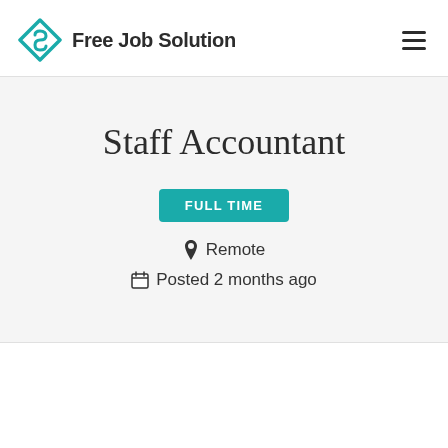Free Job Solution
Staff Accountant
FULL TIME
Remote
Posted 2 months ago